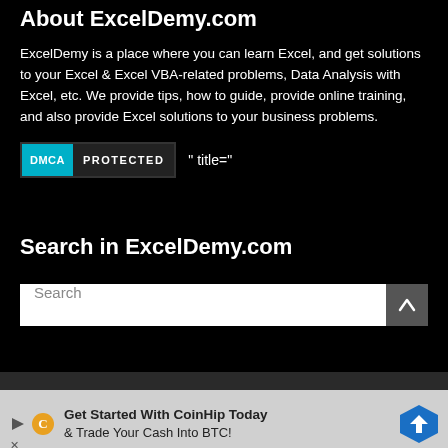About ExcelDemy.com
ExcelDemy is a place where you can learn Excel, and get solutions to your Excel & Excel VBA-related problems, Data Analysis with Excel, etc. We provide tips, how to guide, provide online training, and also provide Excel solutions to your business problems.
[Figure (logo): DMCA Protected badge with cyan DMCA label and dark PROTECTED label, followed by text: " title="]
Search in ExcelDemy.com
Search
[Figure (infographic): Advertisement banner: Get Started With CoinHip Today & Trade Your Cash Into BTC! with play icon, coin icon, and blue diamond arrow icon]